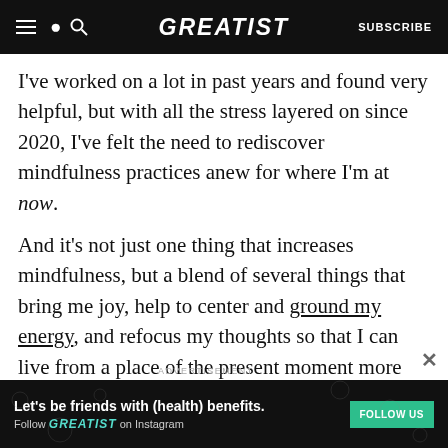GREATIST | SUBSCRIBE
I've worked on a lot in past years and found very helpful, but with all the stress layered on since 2020, I've felt the need to rediscover mindfulness practices anew for where I'm at now.
And it's not just one thing that increases mindfulness, but a blend of several things that bring me joy, help to center and ground my energy, and refocus my thoughts so that I can live from a place of the present moment more often than worrying about the past or future (thanks,
[Figure (other): Greatist advertisement banner: 'Let’s be friends with (health) benefits. Follow GREATIST on Instagram' with FOLLOW US button]